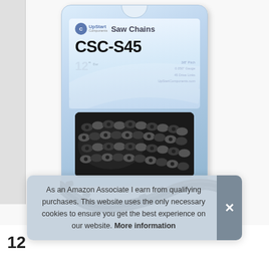[Figure (photo): Product photo of UpStart Components Saw Chain model CSC-S45, showing a 12-inch chainsaw chain in retail blister packaging with the chain also displayed unwrapped below the package.]
As an Amazon Associate I earn from qualifying purchases. This website uses the only necessary cookies to ensure you get the best experience on our website. More information
12